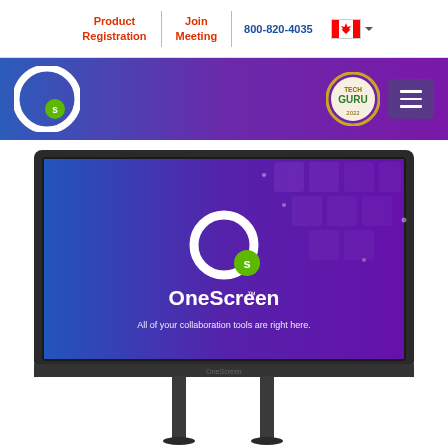Product Registration | Join Meeting | 800-820-4035
[Figure (logo): OneScreen logo and navigation header banner with gradient blue-to-purple background]
[Figure (photo): OneScreen interactive display panel on a floor stand showing the OneScreen logo and tagline 'All of your collaboration tools are right here.']